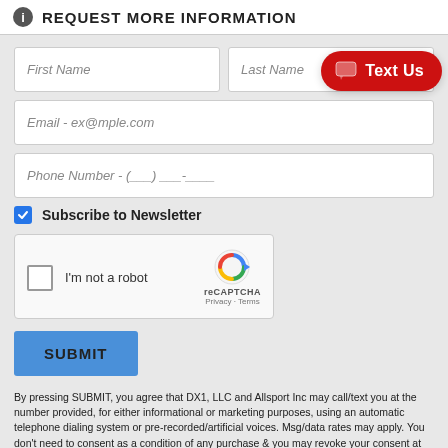REQUEST MORE INFORMATION
[Figure (screenshot): Web form with fields for First Name, Last Name, Email, Phone Number, Subscribe to Newsletter checkbox, reCAPTCHA widget, SUBMIT button, and disclaimer text. A red 'Text Us' button overlay appears in the top right.]
By pressing SUBMIT, you agree that DX1, LLC and Allsport Inc may call/text you at the number provided, for either informational or marketing purposes, using an automatic telephone dialing system or pre-recorded/artificial voices. Msg/data rates may apply. You don't need to consent as a condition of any purchase & you may revoke your consent at any time. You also agree to our Privacy Statement & Terms of Use.